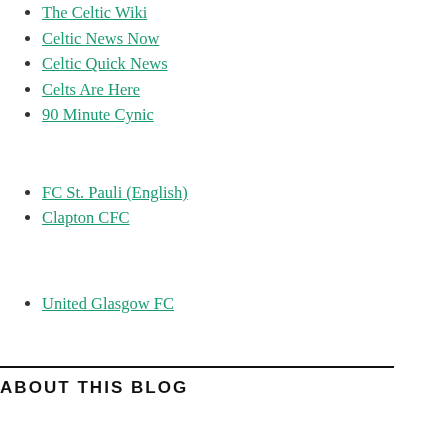The Celtic Wiki
Celtic News Now
Celtic Quick News
Celts Are Here
90 Minute Cynic
FC St. Pauli (English)
Clapton CFC
United Glasgow FC
ABOUT THIS BLOG